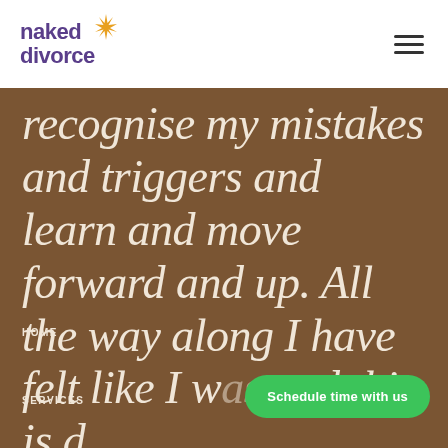[Figure (logo): Naked Divorce logo with purple text and orange starburst icon]
recognise my mistakes and triggers and learn and move forward and up. All the way along I have felt like I w... and this is d...
HOME
SERVICES
Schedule time with us